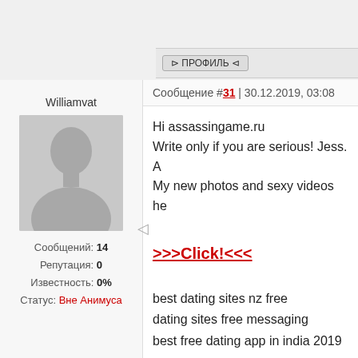[Figure (screenshot): Forum profile button row with ПРОФИЛЬ button in Cyrillic]
Williamvat
[Figure (photo): Default grey avatar silhouette of a person]
Сообщений: 14
Репутация: 0
Известность: 0%
Статус: Вне Анимуса
Сообщение #31 | 30.12.2019, 03:08
Hi assassingame.ru
Write only if you are serious! Jess. A
My new photos and sexy videos he
>>>Click!<<<
best dating sites nz free
dating sites free messaging
best free dating app in india 2019